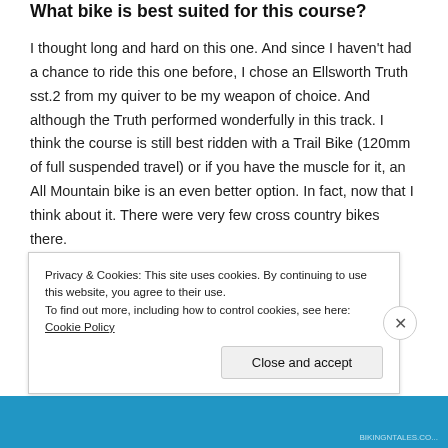What bike is best suited for this course?
I thought long and hard on this one. And since I haven't had a chance to ride this one before, I chose an Ellsworth Truth sst.2 from my quiver to be my weapon of choice. And although the Truth performed wonderfully in this track. I think the course is still best ridden with a Trail Bike (120mm of full suspended travel) or if you have the muscle for it, an All Mountain bike is an even better option. In fact, now that I think about it. There were very few cross country bikes there.
What should you bring?
Privacy & Cookies: This site uses cookies. By continuing to use this website, you agree to their use.
To find out more, including how to control cookies, see here: Cookie Policy
Close and accept